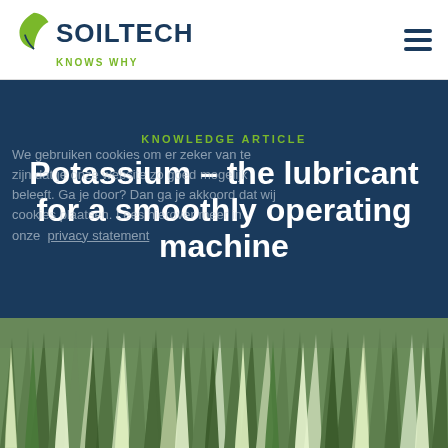[Figure (logo): Soiltech logo with green leaf icon and 'KNOWS WHY' tagline]
KNOWLEDGE ARTICLE
Potassium – the lubricant for a smoothly operating machine
We gebruiken cookies om er zeker van te zijn dat je onze website zo goed mogelijk beleeft. Ga je door? Dan ga je akkoord dat wij cookies plaatsen. Lees hierover meer in onze privacy statement
[Figure (photo): Close-up photograph of grass or grain crop with green and white striped leaves]